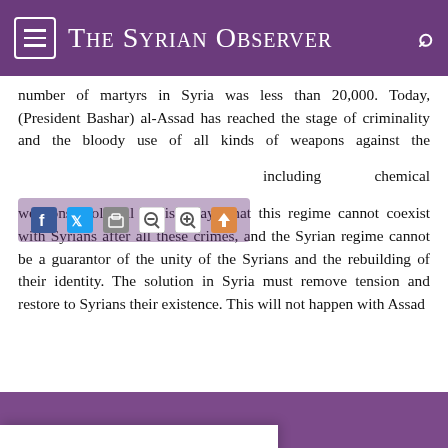The Syrian Observer
number of martyrs in Syria was less than 20,000. Today, (President Bashar) al-Assad has reached the stage of criminality and the bloody use of all kinds of weapons against the people, including chemical weapons. Political realism says that this regime cannot coexist with Syrians after all these crimes, and the Syrian regime cannot be a guarantor of the unity of the Syrians and the rebuilding of their identity. The solution in Syria must remove tension and restore to Syrians their existence. This will not happen with Assad ...epting that Assad ...is division and ...t acceptable.
...related to the
...mfort the Syrian ...d imposed by the ...the current form ...regional fighting.
[Figure (screenshot): Cookie consent dialog with text: We use cookies on our website to give you the most relevant experience by remembering your preferences and repeat visits. By clicking "Accept", you consent to the use of ALL the cookies. Do not sell my personal information. Buttons: Cookie Settings and Accept.]